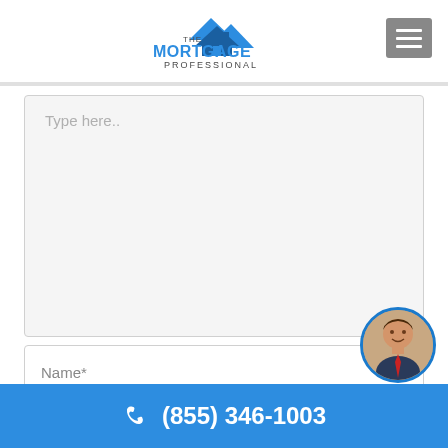[Figure (logo): The Mortgage Professional logo with house/mountain graphic and blue text]
Type here..
Name*
[Figure (photo): Circular headshot of a man in a suit]
(855) 346-1003